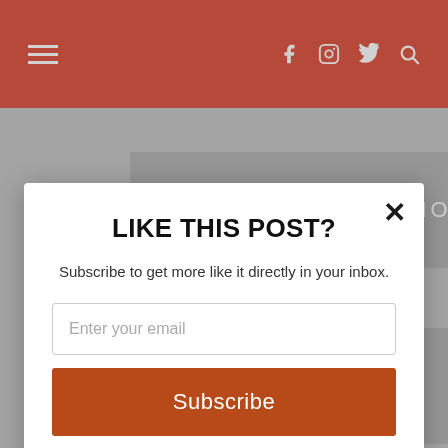Navigation bar with hamburger menu, facebook, instagram, twitter, search icons
[Figure (screenshot): Gray banner with text NORTH AMERICA in white spaced letters]
[Figure (screenshot): Gray banner with text OCEANA in white spaced letters]
LIKE THIS POST?
Subscribe to get more like it directly in your inbox.
Enter your email
Subscribe
powered by MailMunch